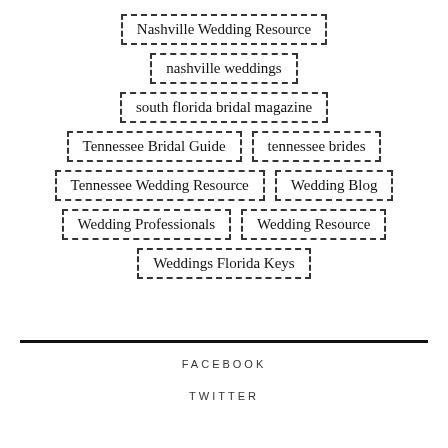[Figure (other): Tag cloud / keyword list displayed as dashed-border boxes arranged in rows: Nashville Wedding Resource, nashville weddings, south florida bridal magazine, Tennessee Bridal Guide, tennessee brides, Tennessee Wedding Resource, Wedding Blog, Wedding Professionals, Wedding Resource, Weddings Florida Keys]
FACEBOOK
TWITTER